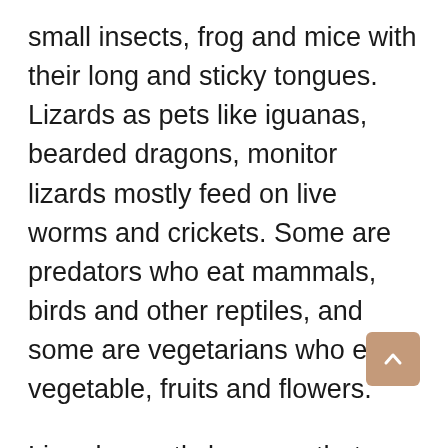small insects, frog and mice with their long and sticky tongues. Lizards as pets like iguanas, bearded dragons, monitor lizards mostly feed on live worms and crickets. Some are predators who eat mammals, birds and other reptiles, and some are vegetarians who eat vegetable, fruits and flowers.
Lizards mostly lay eggs that mean they are oviparous. Some species give birth after they have hatched the eggs inside the body. And if they are egg-laying the lizards will keep the eggs in their nests. They are capable of parthenogenesis in Squamata, that is asexual